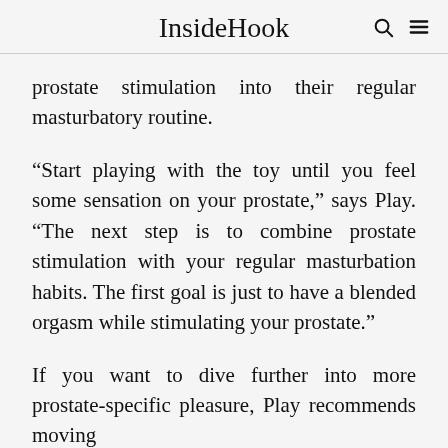InsideHook
prostate stimulation into their regular masturbatory routine.
“Start playing with the toy until you feel some sensation on your prostate,” says Play. “The next step is to combine prostate stimulation with your regular masturbation habits. The first goal is just to have a blended orgasm while stimulating your prostate.”
If you want to dive further into more prostate-specific pleasure, Play recommends moving